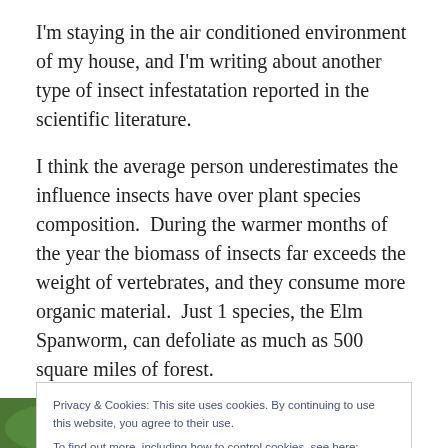I'm staying in the air conditioned environment of my house, and I'm writing about another type of insect infestatation reported in the scientific literature.
I think the average person underestimates the influence insects have over plant species composition.  During the warmer months of the year the biomass of insects far exceeds the weight of vertebrates, and they consume more organic material.  Just 1 species, the Elm Spanworm, can defoliate as much as 500 square miles of forest.
Privacy & Cookies: This site uses cookies. By continuing to use this website, you agree to their use.
To find out more, including how to control cookies, see here: Cookie Policy
[Figure (photo): Partial photo of green foliage/insect, cropped at bottom of page]